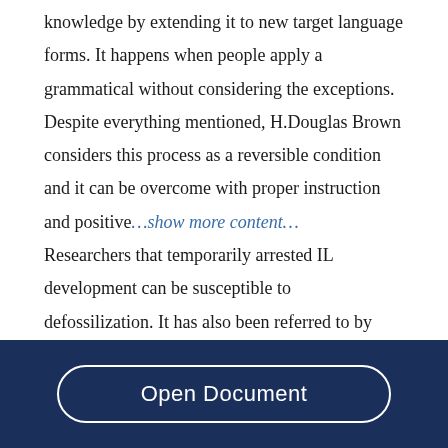knowledge by extending it to new target language forms. It happens when people apply a grammatical without considering the exceptions. Despite everything mentioned, H.Douglas Brown considers this process as a reversible condition and it can be overcome with proper instruction and positive…show more content… Researchers that temporarily arrested IL development can be susceptible to defossilization. It has also been referred to by Sims as soft
Open Document